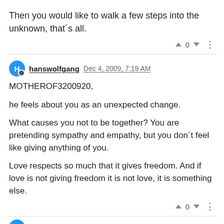Then you would like to walk a few steps into the unknown, that´s all.
hanswolfgang  Dec 4, 2009, 7:19 AM
MOTHEROF3200920,

he feels about you as an unexpected change.

What causes you not to be together? You are pretending sympathy and empathy, but you don´t feel like giving anything of you.

Love respects so much that it gives freedom. And if love is not giving freedom it is not love, it is something else.
hanswolfgang  Dec 4, 2009, 7:31 AM